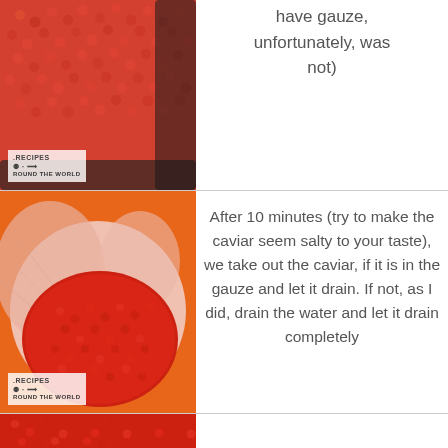[Figure (photo): Close-up photo of red/orange salmon caviar in a dark pan, with a small recipe logo watermark in the bottom-left corner]
have gauze, unfortunately, was not)
[Figure (photo): Photo of bright red salmon caviar in a glass bowl lined with pink cheesecloth/gauze fabric, with a small recipe logo watermark in the bottom-left corner]
After 10 minutes (try to make the caviar seem salty to your taste), we take out the caviar, if it is in the gauze and let it drain. If not, as I did, drain the water and let it drain completely
[Figure (photo): Partial view of red salmon caviar, bottom strip]